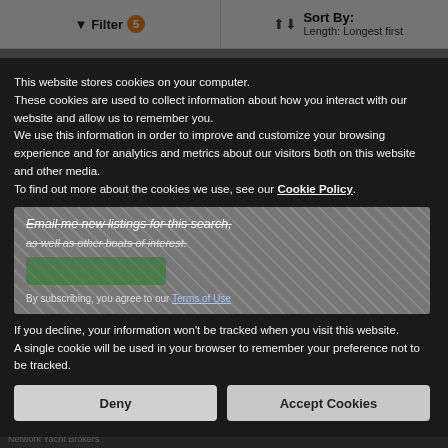Filter 5   Sort By: Length: Longest first
Save Search
[Figure (screenshot): Background dimmed yacht broker website with a save search modal overlay (hatched pattern)]
This website stores cookies on your computer.
These cookies are used to collect information about how you interact with our website and allow us to remember you.
We use this information in order to improve and customize your browsing experience and for analytics and metrics about our visitors both on this website and other media.
To find out more about the cookies we use, see our Cookie Policy.
If you decline, your information won’t be tracked when you visit this website.
A single cookie will be used in your browser to remember your preference not to be tracked.
Deny
Accept Cookies